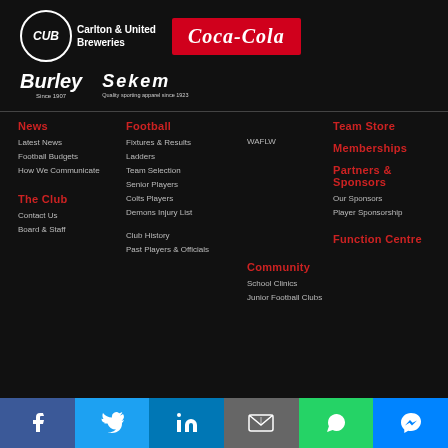[Figure (logo): Carlton & United Breweries logo - circle with CUB monogram and text]
[Figure (logo): Coca-Cola logo on red background]
[Figure (logo): Burley logo - italic text with Since 1907]
[Figure (logo): Sekem logo - italic text with Quality sporting apparel since 1923]
News
Latest News
Football Budgets
How We Communicate
Football
Fixtures & Results
WAFLW
Ladders
Team Selection
Senior Players
Colts Players
Demons Injury List
Team Store
Memberships
Partners & Sponsors
Our Sponsors
Player Sponsorship
The Club
Contact Us
Board & Staff
Club History
Past Players & Officials
Community
School Clinics
Junior Football Clubs
Function Centre
Social media links: Facebook, Twitter, LinkedIn, Email, WhatsApp, Messenger